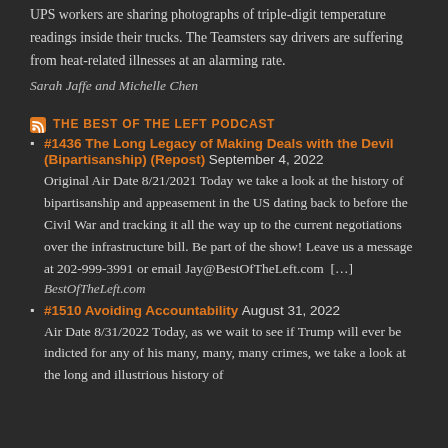UPS workers are sharing photographs of triple-digit temperature readings inside their trucks. The Teamsters say drivers are suffering from heat-related illnesses at an alarming rate.
Sarah Jaffe and Michelle Chen
THE BEST OF THE LEFT PODCAST
#1436 The Long Legacy of Making Deals with the Devil (Bipartisanship) (Repost) September 4, 2022 Original Air Date 8/21/2021 Today we take a look at the history of bipartisanship and appeasement in the US dating back to before the Civil War and tracking it all the way up to the current negotiations over the infrastructure bill. Be part of the show! Leave us a message at 202-999-3991 or email Jay@BestOfTheLeft.com  [...] BestOfTheLeft.com
#1510 Avoiding Accountability August 31, 2022 Air Date 8/31/2022 Today, as we wait to see if Trump will ever be indicted for any of his many, many, many crimes, we take a look at the long and illustrious history of